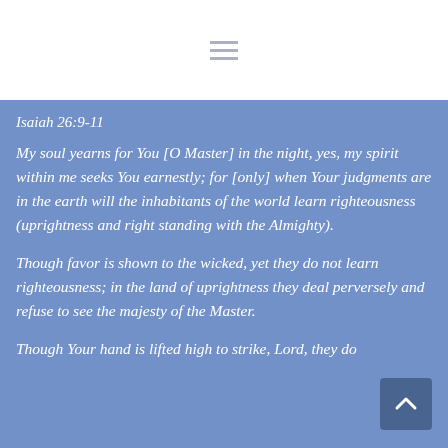Isaiah 26:9-11
My soul yearns for You [O Master] in the night, yes, my spirit within me seeks You earnestly; for [only] when Your judgments are in the earth will the inhabitants of the world learn righteousness (uprightness and right standing with the Almighty).
Though favor is shown to the wicked, yet they do not learn righteousness; in the land of uprightness they deal perversely and refuse to see the majesty of the Master.
Though Your hand is lifted high to strike, Lord, they do